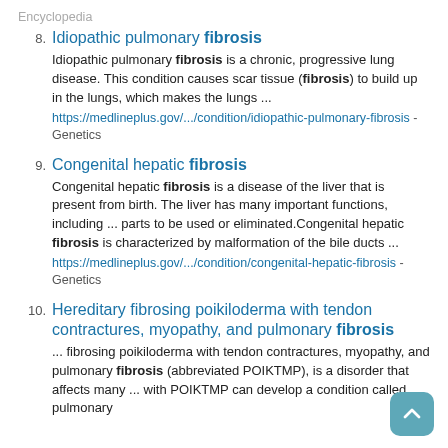Encyclopedia
8. Idiopathic pulmonary fibrosis
Idiopathic pulmonary fibrosis is a chronic, progressive lung disease. This condition causes scar tissue (fibrosis) to build up in the lungs, which makes the lungs ...
https://medlineplus.gov/.../condition/idiopathic-pulmonary-fibrosis - Genetics
9. Congenital hepatic fibrosis
Congenital hepatic fibrosis is a disease of the liver that is present from birth. The liver has many important functions, including ... parts to be used or eliminated.Congenital hepatic fibrosis is characterized by malformation of the bile ducts ...
https://medlineplus.gov/.../condition/congenital-hepatic-fibrosis - Genetics
10. Hereditary fibrosing poikiloderma with tendon contractures, myopathy, and pulmonary fibrosis
... fibrosing poikiloderma with tendon contractures, myopathy, and pulmonary fibrosis (abbreviated POIKTMP), is a disorder that affects many ... with POIKTMP can develop a condition called pulmonary